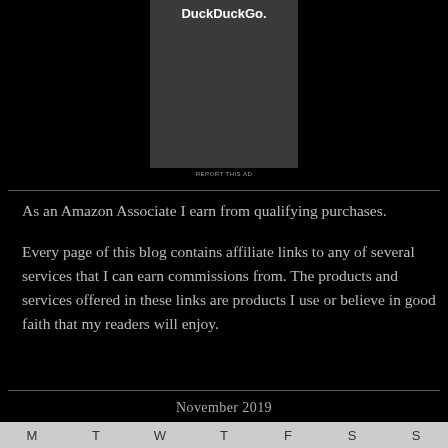[Figure (other): Dark advertisement box with 'DuckDuckGo.' text at top and a REPORT THIS AD link below]
As an Amazon Associate I earn from qualifying purchases.
Every page of this blog contains affiliate links to any of several services that I can earn commissions from. The products and services offered in these links are products I use or believe in good faith that my readers will enjoy.
November 2019
| M | T | W | T | F | S | S |
| --- | --- | --- | --- | --- | --- | --- |